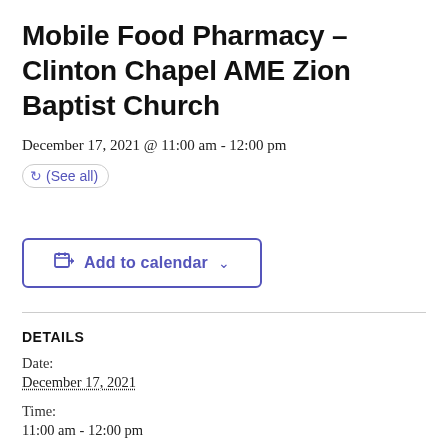Mobile Food Pharmacy – Clinton Chapel AME Zion Baptist Church
December 17, 2021 @ 11:00 am - 12:00 pm
(See all)
Add to calendar
DETAILS
Date:
December 17, 2021
Time:
11:00 am - 12:00 pm